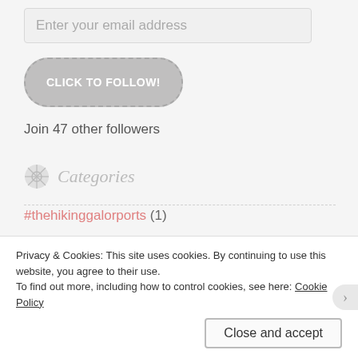Enter your email address
CLICK TO FOLLOW!
Join 47 other followers
Categories
#thehikinggalorports (1)
Adventure (1)
Faith (2)
Privacy & Cookies: This site uses cookies. By continuing to use this website, you agree to their use.
To find out more, including how to control cookies, see here: Cookie Policy
Close and accept